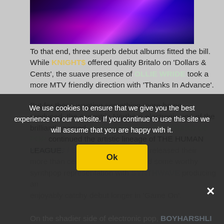[Figure (photo): Dark concert/club photo with purple and pink neon lights, silhouettes of people dancing]
To that end, three superb debut albums fitted the bill. While KNIGHTS offered quality Britalo on 'Dollars & Cents', the suave presence of OLLIE WRIDE took a more MTV friendly direction with 'Thanks In Advance'.
But for those wanting something more home produced, the eccentric Northern electronic pop of the brilliantly named INTERNATIONAL TEACHERS OF POP continued the artistic lineage of THE HUMAN LEAGUE.
[partially obscured] finally released their ... more than ceded and Denmark had some worthy synthpop representation with [SYNTHWAVE] producing an enjoyably catchy debut lo[nger] in 'Game On'.
We use cookies to ensure that we give you the best experience on our website. If you continue to use this site we will assume that you are happy with it.
On the shadier side of electronic pop, [BOYHARDER]